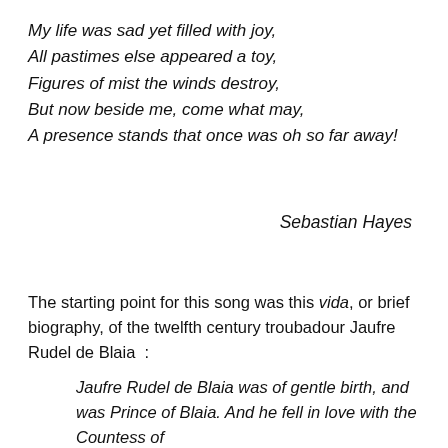My life was sad yet filled with joy,
All pastimes else appeared a toy,
Figures of mist the winds destroy,
But now beside me, come what may,
A presence stands that once was oh so far away!
Sebastian Hayes
The starting point for this song was this vida, or brief biography, of the twelfth century troubadour Jaufre Rudel de Blaia  :
Jaufre Rudel de Blaia was of gentle birth, and was Prince of Blaia. And he fell in love with the Countess of